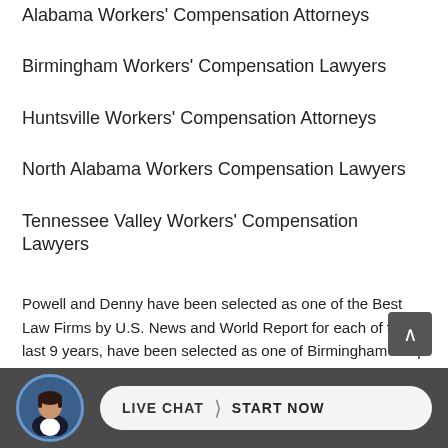Alabama Workers' Compensation Attorneys
Birmingham Workers' Compensation Lawyers
Huntsville Workers' Compensation Attorneys
North Alabama Workers Compensation Lawyers
Tennessee Valley Workers' Compensation Lawyers
Powell and Denny have been selected as one of the Best Law Firms by U.S. News and World Report for each of the last 9 years, have been selected as one of Birmingham's Top Lawyers by B-Metro Magazine for the last 5 years, have been selected by The National Advocates as one of the Top 20 Workers' Compensation Firms (plaintiffs) and Powell and Denny, P.C.-